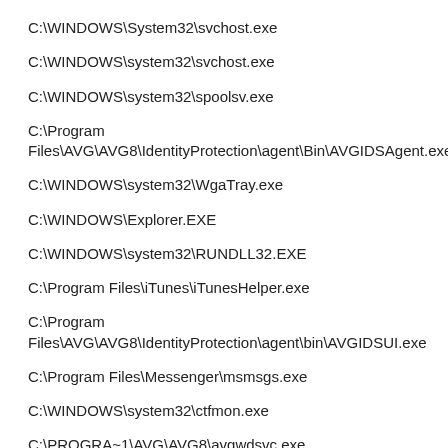C:\WINDOWS\System32\svchost.exe
C:\WINDOWS\system32\svchost.exe
C:\WINDOWS\system32\spoolsv.exe
C:\Program Files\AVG\AVG8\IdentityProtection\agent\Bin\AVGIDSAgent.exe
C:\WINDOWS\system32\WgaTray.exe
C:\WINDOWS\Explorer.EXE
C:\WINDOWS\system32\RUNDLL32.EXE
C:\Program Files\iTunes\iTunesHelper.exe
C:\Program Files\AVG\AVG8\IdentityProtection\agent\bin\AVGIDSUI.exe
C:\Program Files\Messenger\msmsgs.exe
C:\WINDOWS\system32\ctfmon.exe
C:\PROGRA~1\AVG\AVG8\avgwdsvc.exe